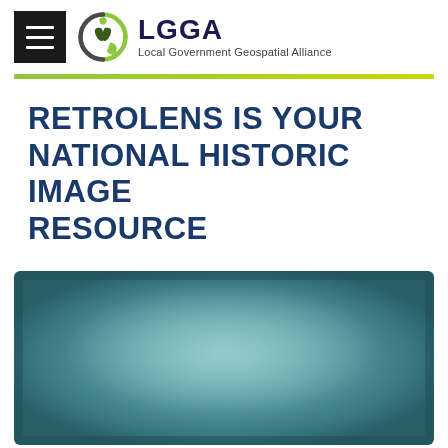LGGA Local Government Geospatial Alliance
RETROLENS IS YOUR NATIONAL HISTORIC IMAGE RESOURCE
[Figure (photo): A blurred teal/blue-green colored hero image placeholder, appearing as a rectangular block with a lighter center and darker edges.]
A historic imagery scanning project has been